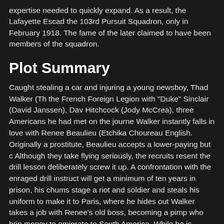expertise needed to quickly expand. As a result, the Lafayette Escad... the 103rd Pursuit Squadron, only in February 1918. The fame of the later claimed to have been members of the squadron.
Plot Summary
Caught stealing a car and injuring a young newsboy, Thad Walker (T... the French Foreign Legion with "Duke" Sinclair (David Janssen), Dav... Hitchcock (Jody McCrea), three Americans he had met on the journe... Walker instantly falls in love with Renee Beaulieu (Etchika Chourea... English. Originally a prostitute, Beaulieu accepts a lower-paying but ... Although they take flying seriously, the recruits resent the drill lesson... deliberately screw it up. A confrontation with the enraged drill instruct... will get a minimum of ten years in prison, his chums stage a riot and ... soldier and steals his uniform to make it to Paris, where he hides out... Walker takes a job with Renee's old boss, becoming a pimp who brin... money to emigrate to South America. While he is pimping, his friends... for postings at the front. When the United States enters the war, Wall... general he is taking to the brothel, and the general agrees to clear th... Rickenbacker's squadron, Walker proves to be a great pilot.